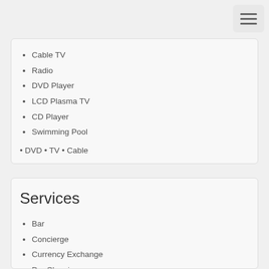Cable TV
Radio
DVD Player
LCD Plasma TV
CD Player
Swimming Pool
• DVD • TV • Cable
Services
Bar
Concierge
Currency Exchange
Dry Cleaning
Hair Dresser
Pharmacy